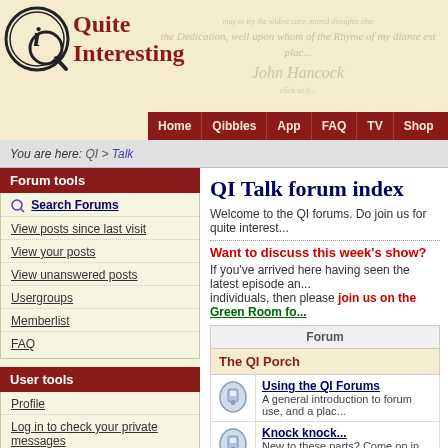Quite Interesting — Home | Qibbles | App | FAQ | TV | Shop
You are here: QI > Talk
QI Talk forum index
Welcome to the QI forums. Do join us for quite interest...
Want to discuss this week's show?
If you've arrived here having seen the latest episode and individuals, then please join us on the Green Room fo...
Forum tools
Search Forums
View posts since last visit
View your posts
View unanswered posts
Usergroups
Memberlist
FAQ
User tools
Profile
Log in to check your private messages
Who's online?
We have 40552 registered users.
In total there are 255 users online: 2 Registered, 0 Hidden and 253 Guests.
| Forum |
| --- |
| The QI Porch |
| Using the QI Forums | A general introduction to forum use, and a plac... |
| Knock knock... | New to these parts? Come on in and make your... |
| General Banter | A relaxed and easy-going place to rabbit on abo... |
| QI Talk |